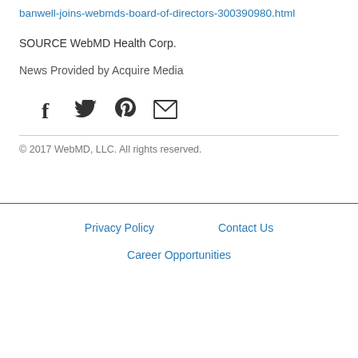banwell-joins-webmds-board-of-directors-300390980.html
SOURCE WebMD Health Corp.
News Provided by Acquire Media
[Figure (other): Social media sharing icons: Facebook (f), Twitter (bird), Pinterest (p), Email (envelope)]
© 2017 WebMD, LLC.  All rights reserved.
Privacy Policy   Contact Us   Career Opportunities